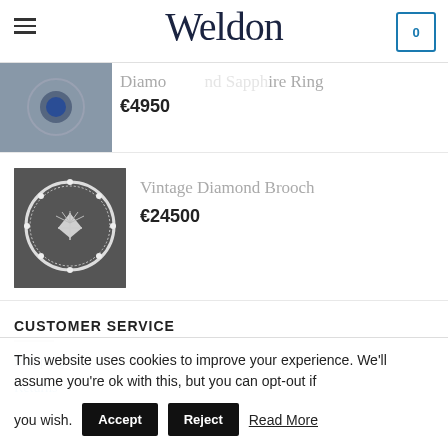Weldon
[Figure (photo): Partially visible product thumbnail - Diamond Sapphire Ring]
Diamo... re Ring
€4950
[Figure (photo): Vintage Diamond Brooch circular silver brooch with bow detail]
Vintage Diamond Brooch
€24500
CUSTOMER SERVICE
Shipping
Returns
This website uses cookies to improve your experience. We'll assume you're ok with this, but you can opt-out if you wish.
Accept | Reject | Read More